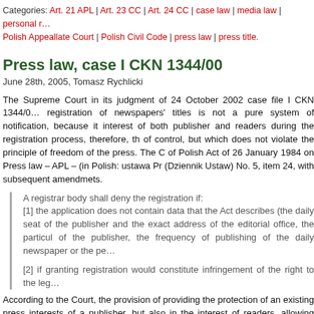Categories: Art. 21 APL | Art. 23 CC | Art. 24 CC | case law | media law | personal rights or interests | Polish Appeallate Court | Polish Civil Code | press law | press title.
Press law, case I CKN 1344/00
June 28th, 2005, Tomasz Rychlicki
The Supreme Court in its judgment of 24 October 2002 case file I CKN 1344/00 held that registration of newspapers' titles is not a pure system of notification, because it serves the interest of both publisher and readers during the registration process, therefore, there is a kind of control, but which does not violate the principle of freedom of the press. The Court stated of Polish Act of 26 January 1984 on Press law – APL – (in Polish: ustawa Prawo prasowe) (Dziennik Ustaw) No. 5, item 24, with subsequent amendmets.
A registrar body shall deny the registration if:
[1] the application does not contain data that the Act describes (the daily seat of the publisher and the exact address of the editorial office, the particulars of the publisher, the frequency of publishing of the daily newspaper or the periodical).
[2] if granting registration would constitute infringement of the right to the legally protected title.
According to the Court, the provision of providing the protection of an existing press title serves interests of a publisher, but also in the interest of readers, allowing them to select a…
Categories: Art. 21 APL | case law | media law | personal rights or interests | Polish Appeallate Court | press law | press title.